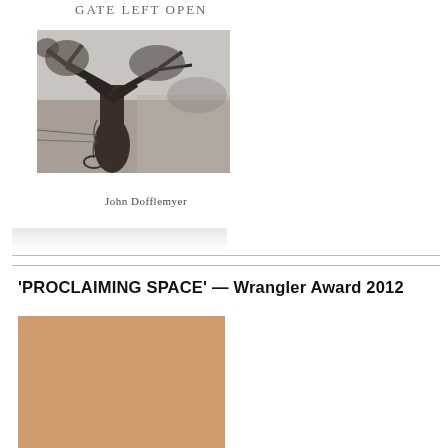GATE LEFT OPEN
[Figure (photo): Black and white photograph of a large gnarled tree with a tire swing and chain, in a rural landscape]
John Dofflemyer
'PROCLAIMING SPACE' — Wrangler Award 2012
[Figure (photo): Book cover with tan/beige color background]